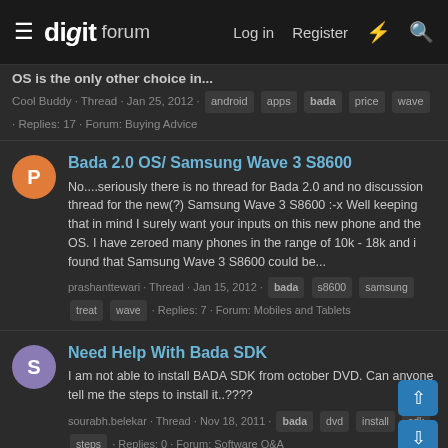digit forum — Log in | Register
OS is the only other choice in...
Cool Buddy · Thread · Jan 25, 2012 · android apps bada price wave · Replies: 17 · Forum: Buying Advice
Bada 2.0 OS/ Samsung Wave 3 S8600
No....seriously there is no thread for Bada 2.0 and no discussion thread for the new(?) Samsung Wave 3 S8600 :-x Well keeping that in mind I surely want your inputs on this new phone and the OS. I have zeroed many phones in the range of 10k - 18k and i found that Samsung Wave 3 S8600 could be...
prashanttewari · Thread · Jan 15, 2012 · bada s8600 samsung treat wave · Replies: 7 · Forum: Mobiles and Tablets
Need Help With Bada SDK
I am not able to install BADA SDK from october DVD. Can anyone tell me the steps to install it..????
sourabh.belekar · Thread · Nov 18, 2011 · bada dvd install sdk steps · Replies: 0 · Forum: Software Q&A